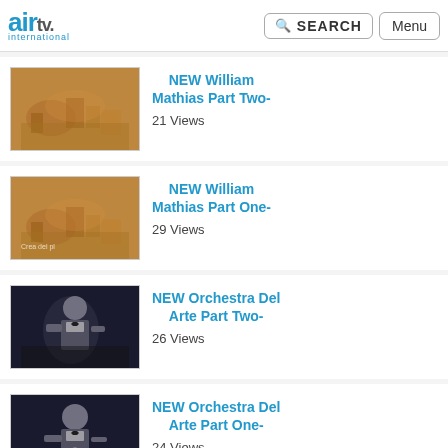air tv. international — SEARCH | Menu
[Figure (screenshot): Video thumbnail: sepia aerial city view for William Mathias Part Two]
NEW William Mathias Part Two-
21 Views
[Figure (screenshot): Video thumbnail: sepia aerial city view for William Mathias Part One]
NEW William Mathias Part One-
29 Views
[Figure (screenshot): Video thumbnail: dark photo of orchestra conductor for Orchestra Del Arte Part Two]
NEW Orchestra Del Arte Part Two-
26 Views
[Figure (screenshot): Video thumbnail: dark photo of orchestra conductor for Orchestra Del Arte Part One]
NEW Orchestra Del Arte Part One-
24 Views